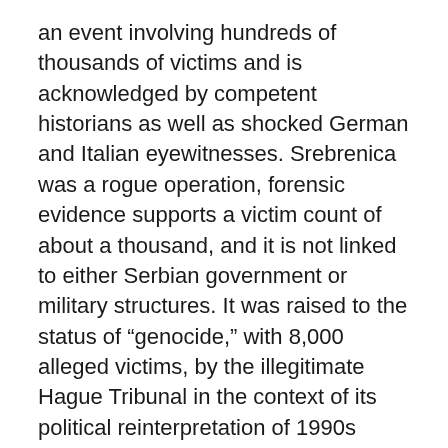an event involving hundreds of thousands of victims and is acknowledged by competent historians as well as shocked German and Italian eyewitnesses. Srebrenica was a rogue operation, forensic evidence supports a victim count of about a thousand, and it is not linked to either Serbian government or military structures. It was raised to the status of “genocide,” with 8,000 alleged victims, by the illegitimate Hague Tribunal in the context of its political reinterpretation of 1990s Balkan history.
The second motive has to do with Croatia’s threat to block Serbia’s accession to the European Union if it were to make an issue of Croatia’s wartime crimes and the genocide inflicted on the Serbian people on territory under its control. As a member of the EU, where new member decisions are taken unanimously, Croatia has that power. However,